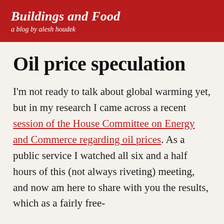Buildings and Food — a blog by alesh houdek
Oil price speculation
I'm not ready to talk about global warming yet, but in my research I came across a recent session of the House Committee on Energy and Commerce regarding oil prices. As a public service I watched all six and a half hours of this (not always riveting) meeting, and now am here to share with you the results, which as a fairly free-